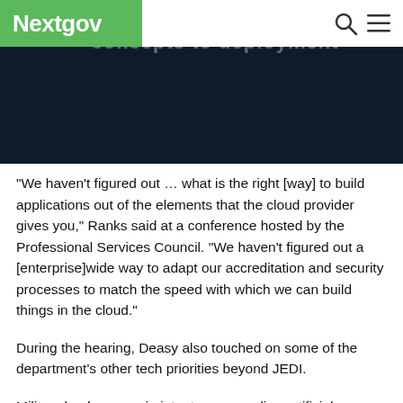Nextgov
[Figure (screenshot): Dark navy screenshot banner showing partial text 'concepts deployment']
“We haven’t figured out … what is the right [way] to build applications out of the elements that the cloud provider gives you,” Ranks said at a conference hosted by the Professional Services Council. “We haven’t figured out a [enterprise]wide way to adapt our accreditation and security processes to match the speed with which we can build things in the cloud.”
During the hearing, Deasy also touched on some of the department’s other tech priorities beyond JEDI.
Military leaders remain intent on expanding artificial intelligence capabilities through initiatives like the Joint Artificial Intelligence Center, he said, though those efforts must “continue to move with more urgency” to keep a leg up on global